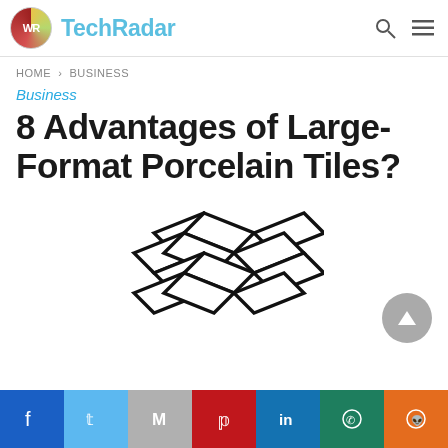TechRadar
HOME > BUSINESS
Business
8 Advantages of Large-Format Porcelain Tiles?
[Figure (illustration): Interlocking tile pattern icon — a woven/basketweave arrangement of elongated rectangular tiles shown as a black line drawing]
Social share bar: Facebook, Twitter, Gmail, Pinterest, LinkedIn, WhatsApp, Reddit